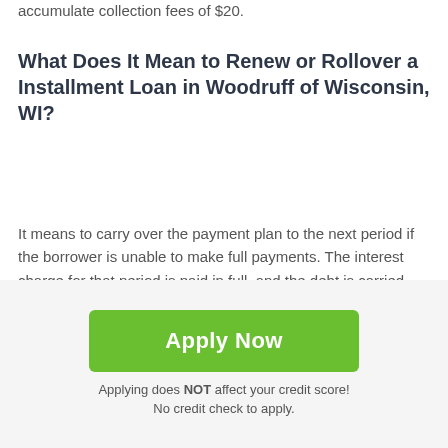accumulate collection fees of $20.
What Does It Mean to Renew or Rollover a Installment Loan in Woodruff of Wisconsin, WI?
It means to carry over the payment plan to the next period if the borrower is unable to make full payments. The interest charge for that period is paid in full, and the debt is carried over. However, rollovers are not a guarantee or legal in Woodruff.
[Figure (illustration): Broken image icon with alt text 'testimonials']
Apply Now
Applying does NOT affect your credit score!
No credit check to apply.